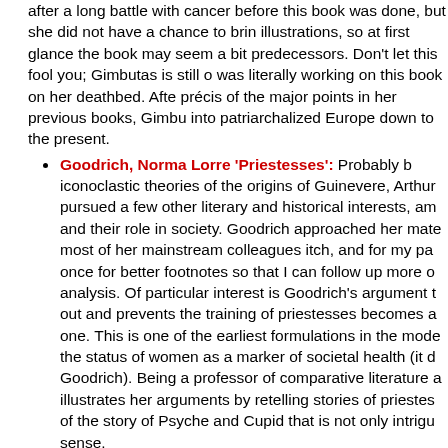after a long battle with cancer before this book was essentially done, but she did not have a chance to bring illustrations, so at first glance the book may seem a bit predecessors. Don't let this fool you; Gimbutas is still o was literally working on this book on her deathbed. Afte précis of the major points in her previous books, Gimbu into patriarchalized Europe down to the present.
Goodrich, Norma Lorre 'Priestesses': Probably b iconoclastic theories of the origins of Guinevere, Arthur pursued a few other literary and historical interests, am and their role in society. Goodrich approached her mate most of her mainstream colleagues itch, and for my pa once for better footnotes so that I can follow up more o analysis. Of particular interest is Goodrich's argument t out and prevents the training of priestesses becomes a one. This is one of the earliest formulations in the mode the status of women as a marker of societal health (it d Goodrich). Being a professor of comparative literature a illustrates her arguments by retelling stories of priestes of the story of Psyche and Cupid that is not only intrigu sense.
Grahn, Judy 'Another Mother Tongue: Gay Wo stumbled over this book by accident, and finally found dumb luck in a second-hand bookstore that seemed to out of business. In this book Grahn sets out to begin th